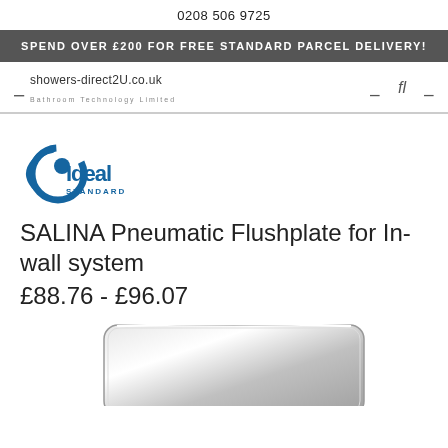0208 506 9725
SPEND OVER £200 FOR FREE STANDARD PARCEL DELIVERY!
showers-direct2U.co.uk Bathroom Technology Limited
[Figure (logo): Ideal Standard logo in blue]
SALINA Pneumatic Flushplate for In-wall system
£88.76 - £96.07
[Figure (photo): Product image of chrome flushplate, partially visible at bottom of page]